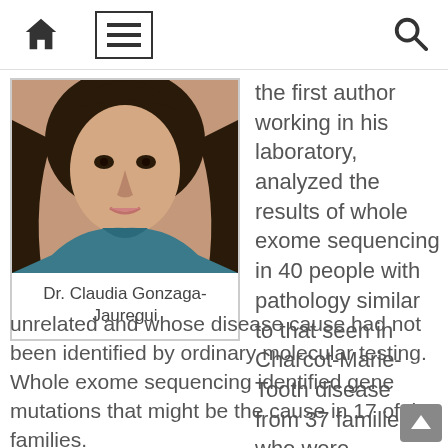Navigation bar with home, menu, and search icons
[Figure (photo): Portrait photo of Dr. Claudia Gonzaga-Jauregui]
Dr. Claudia Gonzaga-Jauregui
the first author working in his laboratory, analyzed the results of whole exome sequencing in 40 people with pathology similar to that seen in Charcot-Marie-Tooth disease from 37 families who were unrelated and whose disease cause had not been identified by ordinary molecular testing. Whole exome sequencing identified gene mutations that might be the cause in 17 of the families.